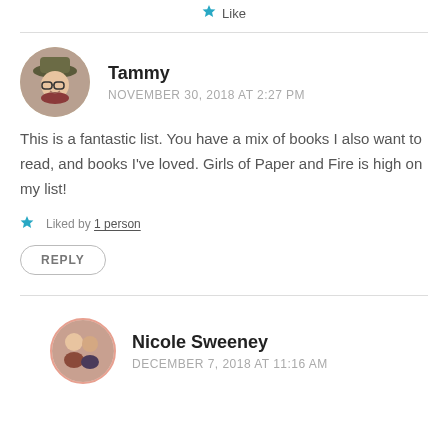Like
Tammy
NOVEMBER 30, 2018 AT 2:27 PM
This is a fantastic list. You have a mix of books I also want to read, and books I've loved. Girls of Paper and Fire is high on my list!
Liked by 1 person
REPLY
Nicole Sweeney
DECEMBER 7, 2018 AT 11:16 AM